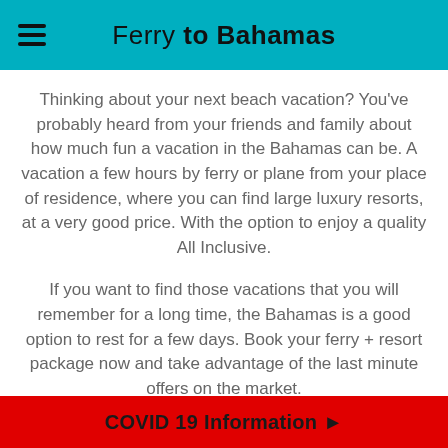Ferry to Bahamas
Thinking about your next beach vacation? You've probably heard from your friends and family about how much fun a vacation in the Bahamas can be. A vacation a few hours by ferry or plane from your place of residence, where you can find large luxury resorts, at a very good price. With the option to enjoy a quality All Inclusive.
If you want to find those vacations that you will remember for a long time, the Bahamas is a good option to rest for a few days. Book your ferry + resort package now and take advantage of the last minute offers on the market.
In our search engine you will find Bimini Bahamas
COVID 19 Information ▶